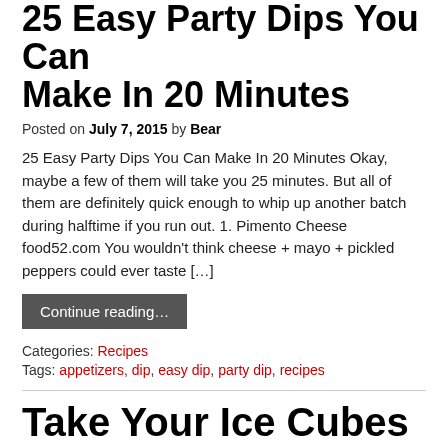25 Easy Party Dips You Can Make In 20 Minutes
Posted on July 7, 2015 by Bear
25 Easy Party Dips You Can Make In 20 Minutes Okay, maybe a few of them will take you 25 minutes. But all of them are definitely quick enough to whip up another batch during halftime if you run out. 1. Pimento Cheese food52.com You wouldn't think cheese + mayo + pickled peppers could ever taste […]
Continue reading…
Categories: Recipes
Tags: appetizers, dip, easy dip, party dip, recipes
Take Your Ice Cubes To The Next Level
Posted on June 1, 2015 by Bear
14 Ways To Take Your Ice Cubes To The Next Level Ice ice baby! 1. Make your drinks sparkle. asubtlerevelry / Via asubtlerevelry.com Don't worry, it's edible glitter. Find out how to